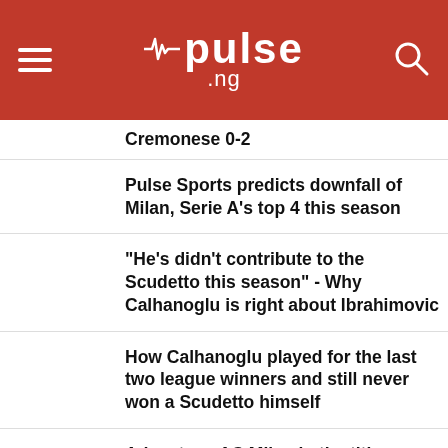pulse.ng
Cremonese 0-2
Pulse Sports predicts downfall of Milan, Serie A's top 4 this season
"He's didn't contribute to the Scudetto this season" - Why Calhanoglu is right about Ibrahimovic
How Calhanoglu played for the last two league winners and still never won a Scudetto himself
Advantage AC Milan in the title